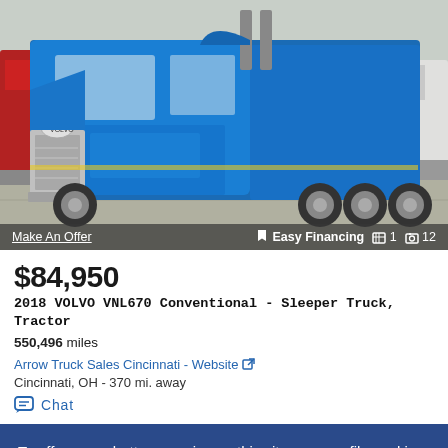[Figure (photo): Blue 2018 Volvo VNL670 sleeper truck tractor parked in a lot, front three-quarter view. Other red trucks and white trucks visible in background.]
Make An Offer
Easy Financing  1  12
$84,950
2018 VOLVO VNL670 Conventional - Sleeper Truck, Tractor
550,496 miles
Arrow Truck Sales Cincinnati - Website
Cincinnati, OH - 370 mi. away
Chat
To offer you a better experience, this site uses profile cookies, even from third parties. By continuing to use this website you consent to the use of cookies. For more information or to select your preferences consult our Privacy Policy
Cookie Settings
✓ OK